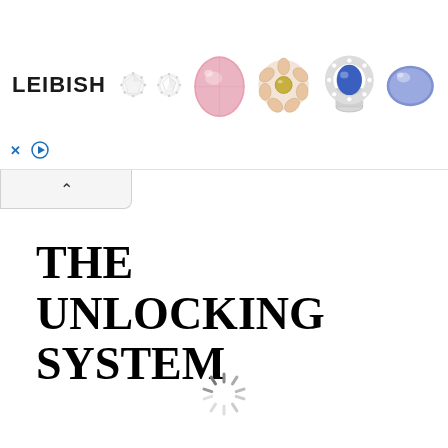[Figure (illustration): Leibish jewelry advertisement banner showing the LEIBISH logo text alongside small diamond stud earrings, a loose diamond, a large pink oval gemstone, a rose gold floral diamond ring, a blue sapphire halo ring, and a blue oval gemstone.]
[Figure (illustration): Collapse/hide ad tab with an upward-pointing chevron arrow (^) on a light gray background]
THE UNLOCKING SYSTEM
[Figure (illustration): Animated loading spinner icon (spinning wheel) centered near bottom of page]